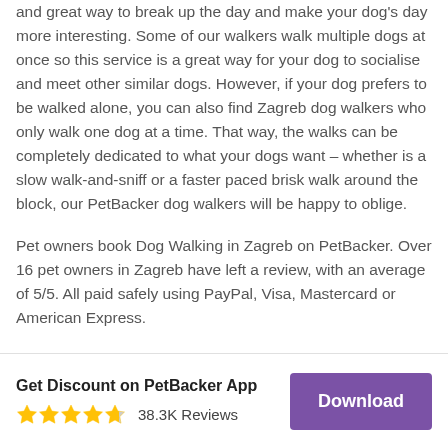and great way to break up the day and make your dog's day more interesting. Some of our walkers walk multiple dogs at once so this service is a great way for your dog to socialise and meet other similar dogs. However, if your dog prefers to be walked alone, you can also find Zagreb dog walkers who only walk one dog at a time. That way, the walks can be completely dedicated to what your dogs want – whether is a slow walk-and-sniff or a faster paced brisk walk around the block, our PetBacker dog walkers will be happy to oblige.
Pet owners book Dog Walking in Zagreb on PetBacker. Over 16 pet owners in Zagreb have left a review, with an average of 5/5. All paid safely using PayPal, Visa, Mastercard or American Express.
Get Discount on PetBacker App
38.3K Reviews
Download